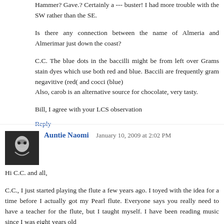Hammer? Gave.? Certainly a --- buster! I had more trouble with the SW rather than the SE.
Is there any connection between the name of Almeria and Almerimar just down the coast?
C.C. The blue dots in the baccilli might be from left over Grams stain dyes which use both red and blue. Baccili are frequently gram negavitive (red( and cocci (blue)
Also, carob is an alternative source for chocolate, very tasty.
Bill, I agree with your LCS observation
Reply
Auntie Naomi  January 10, 2009 at 2:02 PM
Hi C.C. and all,
C.C., I just started playing the flute a few years ago. I toyed with the idea for a time before I actually got my Pearl flute. Everyone says you really need to have a teacher for the flute, but I taught myself. I have been reading music since I was eight years old